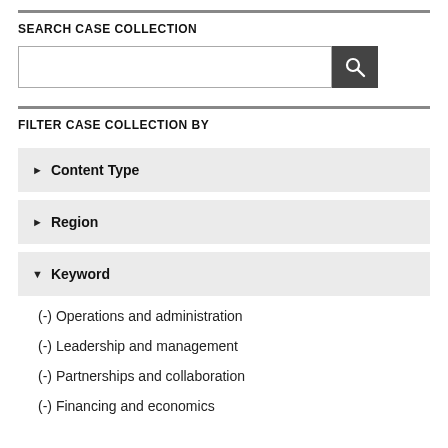SEARCH CASE COLLECTION
[Figure (screenshot): Search input box with a dark search button containing a magnifying glass icon]
FILTER CASE COLLECTION BY
▶  Content Type
▶  Region
▼  Keyword
(-) Operations and administration
(-) Leadership and management
(-) Partnerships and collaboration
(-) Financing and economics